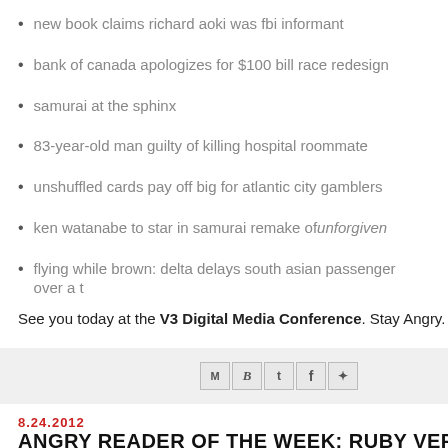new book claims richard aoki was fbi informant
bank of canada apologizes for $100 bill race redesign
samurai at the sphinx
83-year-old man guilty of killing hospital roommate
unshuffled cards pay off big for atlantic city gamblers
ken watanabe to star in samurai remake of unforgiven
flying while brown: delta delays south asian passenger over a t
See you today at the V3 Digital Media Conference. Stay Angry.
[Figure (other): Social sharing icons: email (M), Blogger (B), Twitter (t), Facebook (f), Pinterest (p)]
8.24.2012
ANGRY READER OF THE WEEK: RUBY VERID